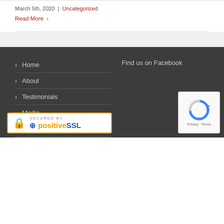March 5th, 2020 | Uncategorized
Read More >
> Home
> About
> Testimonials
> Media
> Blog
Find us on Facebook
[Figure (logo): Secured by PositiveSSL badge with lock icon]
[Figure (other): Google reCAPTCHA widget showing Privacy and Terms]